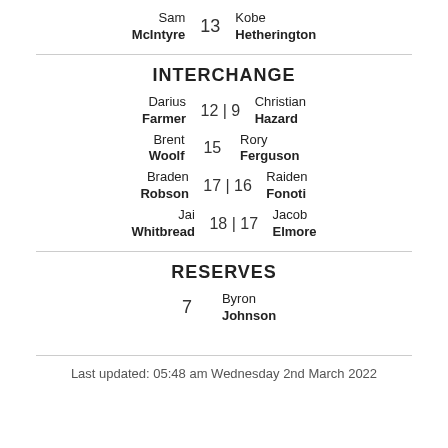Sam McIntyre 13 Kobe Hetherington
INTERCHANGE
Darius Farmer 12 | 9 Christian Hazard
Brent Woolf 15 Rory Ferguson
Braden Robson 17 | 16 Raiden Fonoti
Jai Whitbread 18 | 17 Jacob Elmore
RESERVES
7 Byron Johnson
Last updated: 05:48 am Wednesday 2nd March 2022